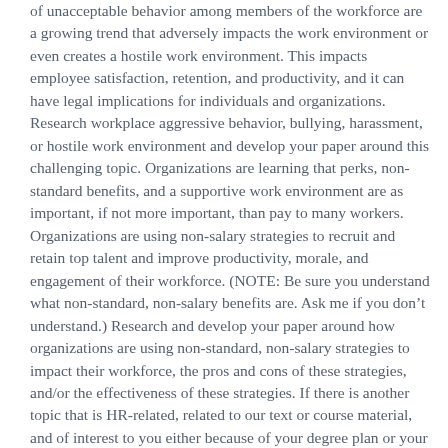of unacceptable behavior among members of the workforce are a growing trend that adversely impacts the work environment or even creates a hostile work environment. This impacts employee satisfaction, retention, and productivity, and it can have legal implications for individuals and organizations. Research workplace aggressive behavior, bullying, harassment, or hostile work environment and develop your paper around this challenging topic. Organizations are learning that perks, non-standard benefits, and a supportive work environment are as important, if not more important, than pay to many workers. Organizations are using non-salary strategies to recruit and retain top talent and improve productivity, morale, and engagement of their workforce. (NOTE: Be sure you understand what non-standard, non-salary benefits are. Ask me if you don't understand.) Research and develop your paper around how organizations are using non-standard, non-salary strategies to impact their workforce, the pros and cons of these strategies, and/or the effectiveness of these strategies. If there is another topic that is HR-related, related to our text or course material, and of interest to you either because of your degree plan or your professional career goals, you may